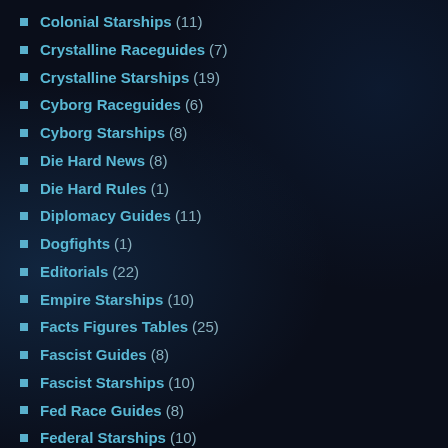Colonial Starships (11)
Crystalline Raceguides (7)
Crystalline Starships (19)
Cyborg Raceguides (6)
Cyborg Starships (8)
Die Hard News (8)
Die Hard Rules (1)
Diplomacy Guides (11)
Dogfights (1)
Editorials (22)
Empire Starships (10)
Facts Figures Tables (25)
Fascist Guides (8)
Fascist Starships (10)
Fed Race Guides (8)
Federal Starships (10)
Fiction (23)
First Turns (8)
How To Play (8)
Lizard Race Guides (7)
Lizard Starships (12)